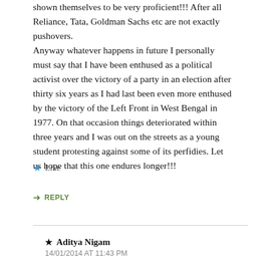shown themselves to be very proficient!!! After all Reliance, Tata, Goldman Sachs etc are not exactly pushovers.
Anyway whatever happens in future I personally must say that I have been enthused as a political activist over the victory of a party in an election after thirty six years as I had last been even more enthused by the victory of the Left Front in West Bengal in 1977. On that occasion things deteriorated within three years and I was out on the streets as a young student protesting against some of its perfidies. Let us hope that this one endures longer!!!
Like
REPLY
Aditya Nigam
14/01/2014 AT 11:43 PM